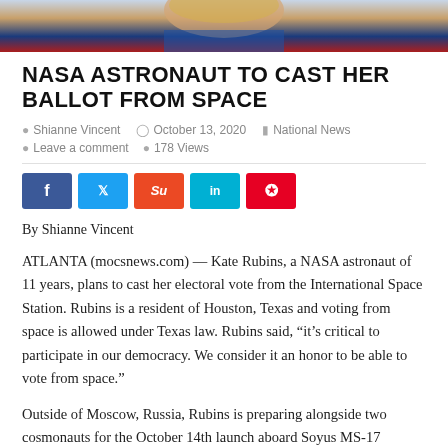[Figure (photo): Partial photo of a woman with blonde hair, wearing a blue outfit, against a red and blue background (likely a flag).]
NASA ASTRONAUT TO CAST HER BALLOT FROM SPACE
Shianne Vincent   October 13, 2020   National News   Leave a comment   178 Views
[Figure (other): Social sharing buttons: Facebook (f), Twitter (bird), StumbleUpon (Su), LinkedIn (in), Pinterest (P)]
By Shianne Vincent
ATLANTA (mocsnews.com) — Kate Rubins, a NASA astronaut of 11 years, plans to cast her electoral vote from the International Space Station. Rubins is a resident of Houston, Texas and voting from space is allowed under Texas law. Rubins said, “it’s critical to participate in our democracy. We consider it an honor to be able to vote from space.”
Outside of Moscow, Russia, Rubins is preparing alongside two cosmonauts for the October 14th launch aboard Soyus MS-17 spacecraft. She will live at the International Space Station for six